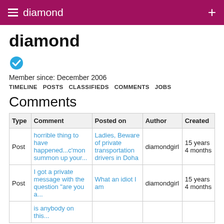≡ diamond  +
diamond
[Figure (illustration): Blue verified checkmark icon]
Member since: December 2006
TIMELINE  POSTS  CLASSIFIEDS  COMMENTS  JOBS
Comments
| Type | Comment | Posted on | Author | Created |
| --- | --- | --- | --- | --- |
| Post | horrible thing to have happened...c'mon summon up your... | Ladies, Beware of private transportation drivers in Doha | diamondgirl | 15 years 4 months |
| Post | I got a private message with the question "are you a... | What an idiot I am | diamondgirl | 15 years 4 months |
|  | is anybody on this... |  |  |  |